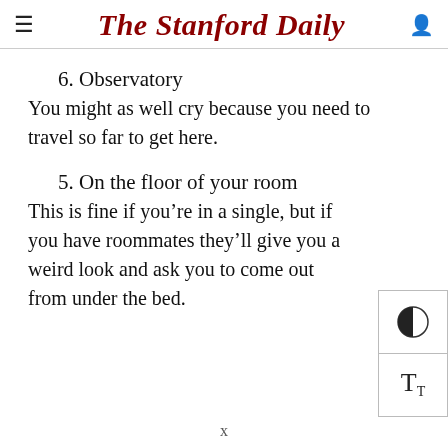The Stanford Daily
6. Observatory
You might as well cry because you need to travel so far to get here.
5. On the floor of your room
This is fine if you’re in a single, but if you have roommates they’ll give you a weird look and ask you to come out from under the bed.